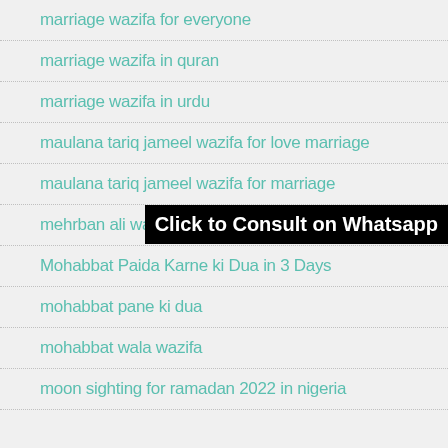marriage wazifa for everyone
marriage wazifa in quran
marriage wazifa in urdu
maulana tariq jameel wazifa for love marriage
maulana tariq jameel wazifa for marriage
mehrban ali wazifa for lo…
Mohabbat Paida Karne ki Dua in 3 Days
mohabbat pane ki dua
mohabbat wala wazifa
moon sighting for ramadan 2022 in nigeria